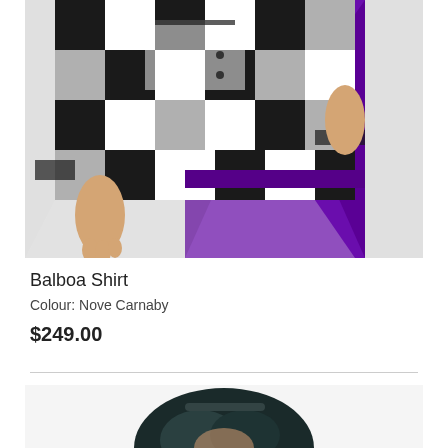[Figure (photo): Product photo of a model wearing a black and white check/gingham oversized shirt (Balboa Shirt in Nove Carnaby colourway) over a bright purple wide-leg trouser. The image is cropped from the waist down, showing the torso and hands.]
Balboa Shirt
Colour: Nove Carnaby
$249.00
[Figure (photo): Second product photo showing the top portion of a model with dark teal/black wavy hair, wearing a white background outfit, partially visible at the bottom of the page.]